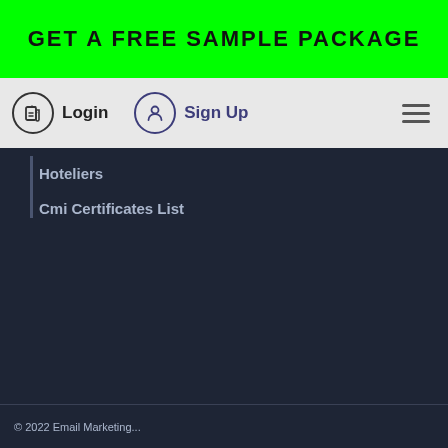GET A FREE SAMPLE PACKAGE
Login
Sign Up
Hoteliers
Cmi Certificates List
How To Use Cmi Certificates
Pop Ups & Sticky Bars
Whitepaper - Increase Sales
Whitepaper - Improve Sales During Strange Times
Whitepaper - Boost Website Conversions
© 2022 Email Marketing...